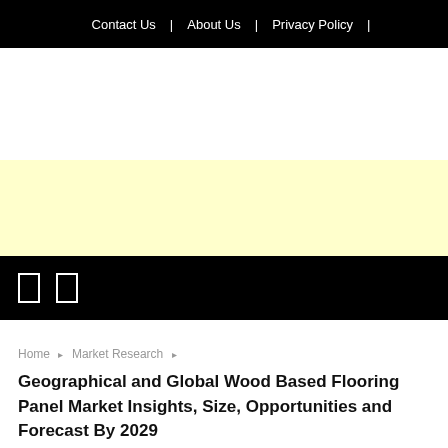Contact Us | About Us | Privacy Policy |
[Figure (other): Yellow advertisement banner placeholder]
Navigation icon bar with two icons
Home > Market Research >
Geographical and Global Wood Based Flooring Panel Market Insights, Size, Opportunities and Forecast By 2029